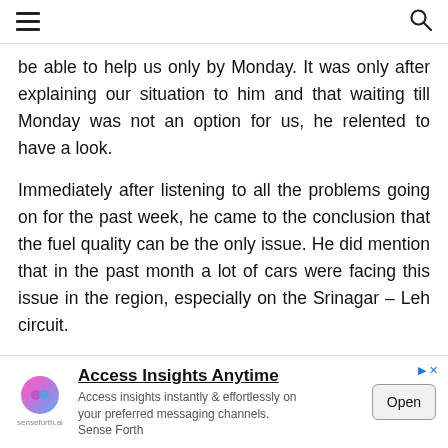☰  🔍
be able to help us only by Monday. It was only after explaining our situation to him and that waiting till Monday was not an option for us, he relented to have a look.
Immediately after listening to all the problems going on for the past week, he came to the conclusion that the fuel quality can be the only issue. He did mention that in the past month a lot of cars were facing this issue in the region, especially on the Srinagar – Leh circuit.
He mentioned that as soon as we switch to good quality fuel the
[Figure (other): Advertisement banner for senseforth.ai: 'Access Insights Anytime' with Open button]